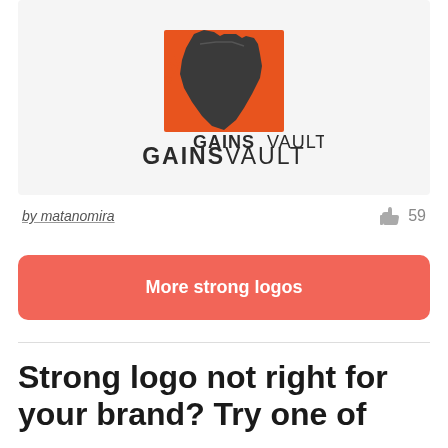[Figure (logo): GAINSVAULT logo: dark grey muscular fist with orange geometric background, text 'GAINSVAULT' below with GAINS in bold dark and VAULT in lighter weight]
by matanomira
59
More strong logos
Strong logo not right for your brand? Try one of